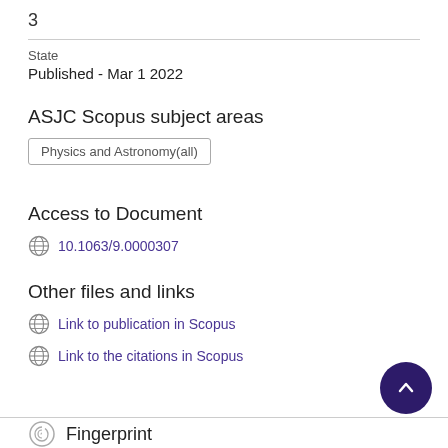3
State
Published - Mar 1 2022
ASJC Scopus subject areas
Physics and Astronomy(all)
Access to Document
10.1063/9.0000307
Other files and links
Link to publication in Scopus
Link to the citations in Scopus
Fingerprint